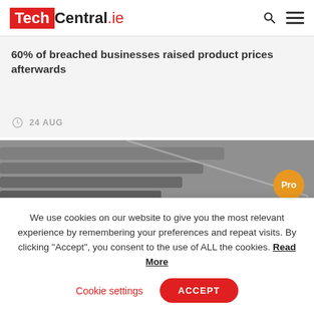TechCentral.ie
60% of breached businesses raised product prices afterwards
24 AUG
[Figure (photo): Close-up photo of keyboard or electronic components with a gold/orange 'Pro' badge overlay in the bottom right corner]
We use cookies on our website to give you the most relevant experience by remembering your preferences and repeat visits. By clicking “Accept”, you consent to the use of ALL the cookies. Read More
Cookie settings   ACCEPT